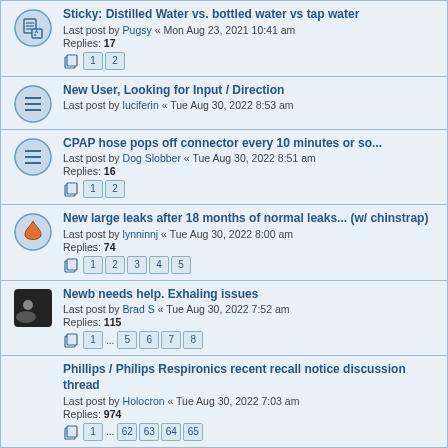Sticky: Distilled Water vs. bottled water vs tap water
Last post by Pugsy « Mon Aug 23, 2021 10:41 am
Replies: 17
Pages: 1 2
New User, Looking for Input / Direction
Last post by luciferin « Tue Aug 30, 2022 8:53 am
CPAP hose pops off connector every 10 minutes or so...
Last post by Dog Slobber « Tue Aug 30, 2022 8:51 am
Replies: 16
Pages: 1 2
New large leaks after 18 months of normal leaks... (w/ chinstrap)
Last post by lynninnj « Tue Aug 30, 2022 8:00 am
Replies: 74
Pages: 1 2 3 4 5
Newb needs help. Exhaling issues
Last post by Brad S « Tue Aug 30, 2022 7:52 am
Replies: 115
Pages: 1 ... 5 6 7 8
Phillips / Philips Respironics recent recall notice discussion thread
Last post by Holocron « Tue Aug 30, 2022 7:03 am
Replies: 974
Pages: 1 ... 62 63 64 65
Just don't feel any better
Last post by ozij « Tue Aug 30, 2022 6:38 am